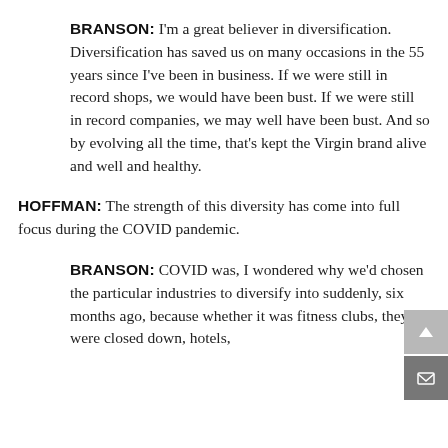BRANSON: I'm a great believer in diversification. Diversification has saved us on many occasions in the 55 years since I've been in business. If we were still in record shops, we would have been bust. If we were still in record companies, we may well have been bust. And so by evolving all the time, that's kept the Virgin brand alive and well and healthy.
HOFFMAN: The strength of this diversity has come into full focus during the COVID pandemic.
BRANSON: COVID was, I wondered why we'd chosen the particular industries to diversify into suddenly, six months ago, because whether it was fitness clubs, they were closed down, hotels,